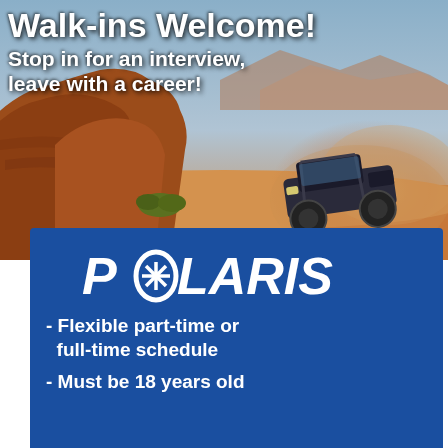[Figure (photo): Desert/red rock canyon landscape with an ATV/UTV side-by-side vehicle kicking up a dust cloud, red sandstone formations on left, blue sky in background]
Walk-ins Welcome!
Stop in for an interview, leave with a career!
[Figure (logo): Polaris logo in white on dark blue background with star/snowflake in the O]
- Flexible part-time or full-time schedule
- Must be 18 years old